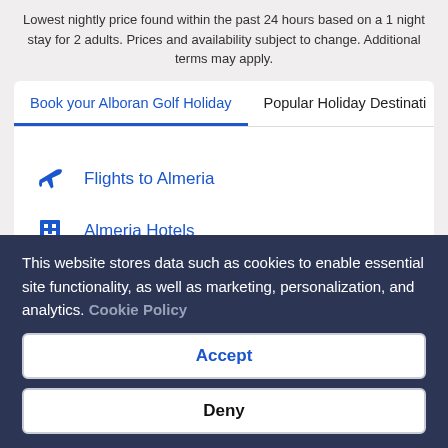Lowest nightly price found within the past 24 hours based on a 1 night stay for 2 adults. Prices and availability subject to change. Additional terms may apply.
Book your Alboran Golf Holiday | Popular Holiday Destinati
Flights to Almeria
Almeria Hotels
Almeria Holiday Rentals
Almeria Car Hire
This website stores data such as cookies to enable essential site functionality, as well as marketing, personalization, and analytics. Cookie Policy
Accept
Deny